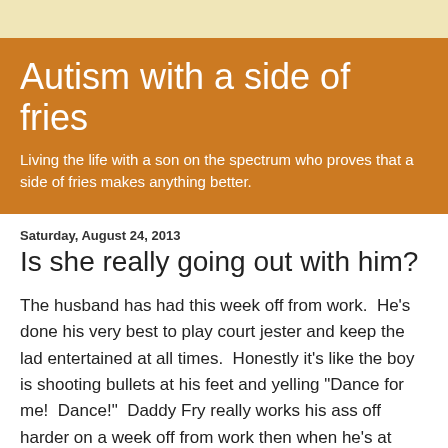Autism with a side of fries
Living the life with a son on the spectrum who proves that a side of fries makes anything better.
Saturday, August 24, 2013
Is she really going out with him?
The husband has had this week off from work.  He's done his very best to play court jester and keep the lad entertained at all times.  Honestly it's like the boy is shooting bullets at his feet and yelling "Dance for me!  Dance!"  Daddy Fry really works his ass off harder on a week off from work then when he's at work.  In fact, come Monday, he's going to be leaving this house with a giant relaxed smile on his face knowing he can finally slow down his pace at the office.  I wouldn't even